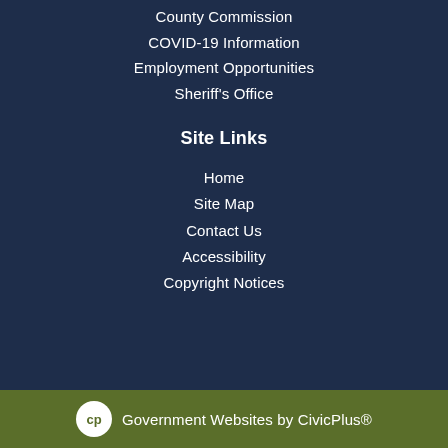County Commission
COVID-19 Information
Employment Opportunities
Sheriff's Office
Site Links
Home
Site Map
Contact Us
Accessibility
Copyright Notices
Government Websites by CivicPlus®